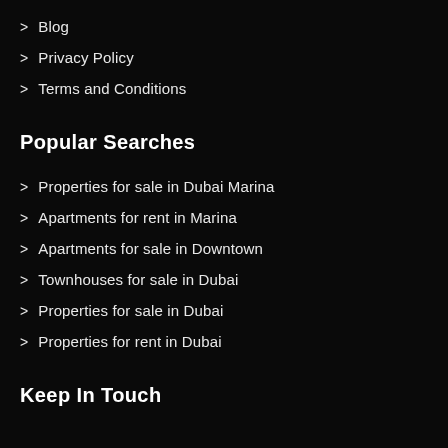Blog
Privacy Policy
Terms and Conditions
Popular Searches
Properties for sale in Dubai Marina
Apartments for rent in Marina
Apartments for sale in Downtown
Townhouses for sale in Dubai
Properties for sale in Dubai
Properties for rent in Dubai
Keep In Touch